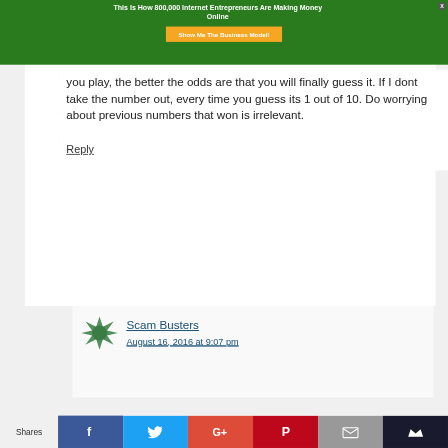[Figure (screenshot): Green banner advertisement: 'This Is How 800,000 Internet Entrepreneurs Are Making Money Online' with orange 'Show Me The Business Model!' button and X close button]
you play, the better the odds are that you will finally guess it. If I dont take the number out, every time you guess its 1 out of 10. Do worrying about previous numbers that won is irrelevant.
Reply
Scam Busters
August 16, 2016 at 9:07 pm
[Figure (infographic): Social share bar with Shares label and Facebook, Twitter, Google+, Pinterest, Email, and crown icon buttons]